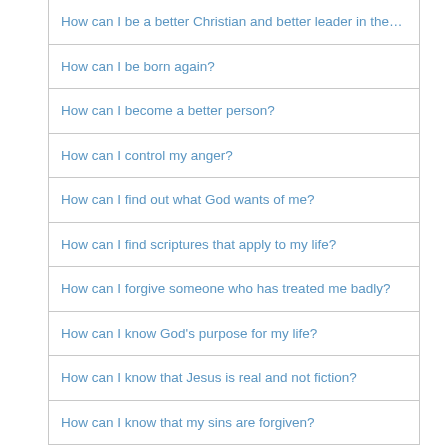How can I be a better Christian and better leader in the c…
How can I be born again?
How can I become a better person?
How can I control my anger?
How can I find out what God wants of me?
How can I find scriptures that apply to my life?
How can I forgive someone who has treated me badly?
How can I know God's purpose for my life?
How can I know that Jesus is real and not fiction?
How can I know that my sins are forgiven?